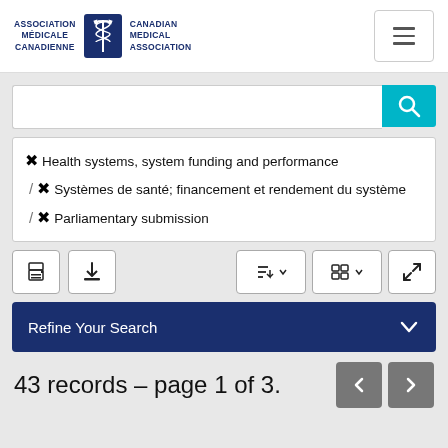[Figure (logo): Canadian Medical Association / Association médicale canadienne logo with caduceus emblem]
[Figure (screenshot): Search input bar with teal search button]
⊗ Health systems, system funding and performance / ⊗ Systèmes de santé; financement et rendement du système / ⊗ Parliamentary submission
[Figure (screenshot): Toolbar with print, download, sort, view, and expand buttons]
Refine Your Search
43 records – page 1 of 3.